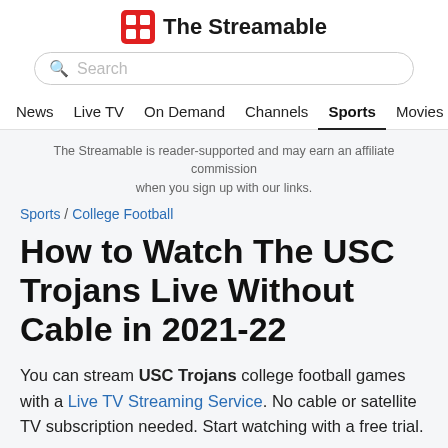The Streamable
Search
News  Live TV  On Demand  Channels  Sports  Movies
The Streamable is reader-supported and may earn an affiliate commission when you sign up with our links.
Sports / College Football
How to Watch The USC Trojans Live Without Cable in 2021-22
You can stream USC Trojans college football games with a Live TV Streaming Service. No cable or satellite TV subscription needed. Start watching with a free trial.